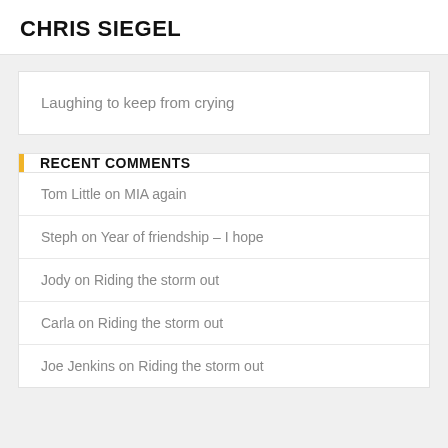CHRIS SIEGEL
Laughing to keep from crying
RECENT COMMENTS
Tom Little on MIA again
Steph on Year of friendship – I hope
Jody on Riding the storm out
Carla on Riding the storm out
Joe Jenkins on Riding the storm out